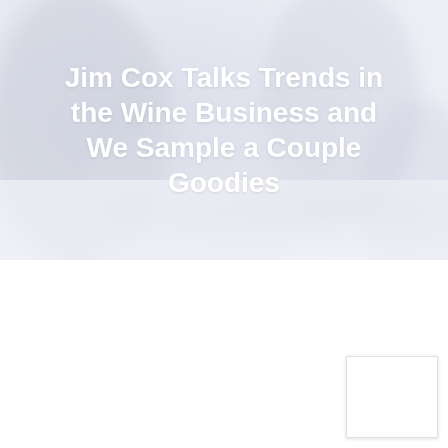[Figure (photo): A light, washed-out background photo of wine-related imagery (people with wine glasses, soft lavender-white tones), serving as a hero image background for the title text.]
Jim Cox Talks Trends in the Wine Business and We Sample a Couple Goodies